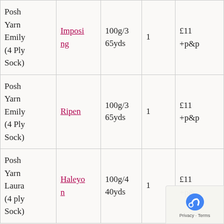| Posh Yarn Emily (4 Ply Sock) | Imposing | 100g/365yds | 1 | £11 +p&p |
| Posh Yarn Emily (4 Ply Sock) | Ripen | 100g/365yds | 1 | £11 +p&p |
| Posh Yarn Laura (4 ply Sock) | Halcyon | 100g/440yds | 1 | £11 +p&p |